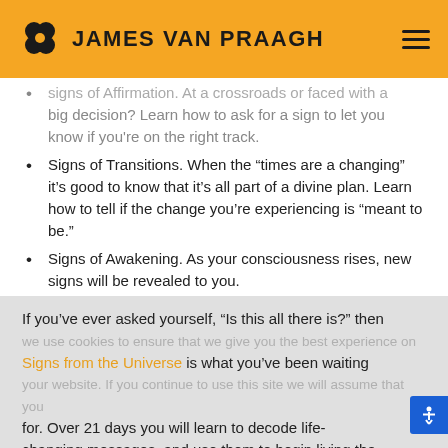JAMES VAN PRAAGH
Signs of Affirmation. At a crossroads or faced with a big decision? Learn how to ask for a sign to let you know if you're on the right track.
Signs of Transitions. When the “times are a changing” it’s good to know that it’s all part of a divine plan. Learn how to tell if the change you’re experiencing is “meant to be.”
Signs of Awakening. As your consciousness rises, new signs will be revealed to you.
If you’ve ever asked yourself, “Is this all there is?” then Signs from the Universe is what you’ve been waiting for. Over 21 days you will learn to decode life-changing messages, and use them to begin living the life of your dreams!